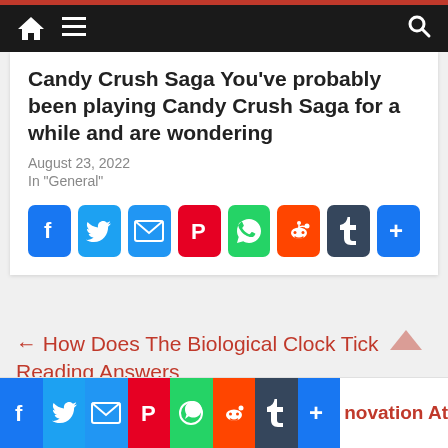Navigation bar with home, menu, and search icons
Candy Crush Saga You've probably been playing Candy Crush Saga for a while and are wondering
August 23, 2022
In "General"
[Figure (infographic): Social share buttons row: Facebook, Twitter, Email, Pinterest, WhatsApp, Reddit, Tumblr, More]
← How Does The Biological Clock Tick Reading Answers
[Figure (infographic): Social share buttons row at bottom: Facebook, Twitter, Email, Pinterest, WhatsApp, Reddit, Tumblr, More, and text 'novation At']